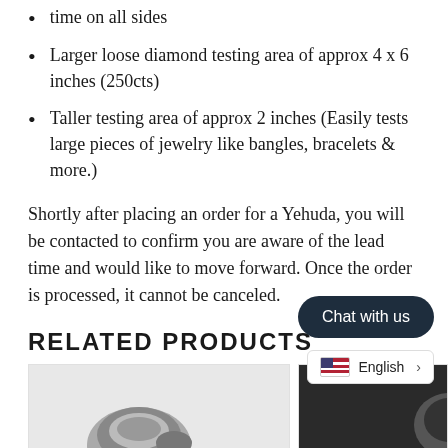time on all sides
Larger loose diamond testing area of approx 4 x 6 inches (250cts)
Taller testing area of approx 2 inches (Easily tests large pieces of jewelry like bangles, bracelets & more.)
Shortly after placing an order for a Yehuda, you will be contacted to confirm you are aware of the lead time and would like to move forward. Once the order is processed, it cannot be canceled.
RELATED PRODUCTS
[Figure (photo): Product image showing a round metallic/diamond testing device, partially visible]
[Figure (photo): Second product image, dark background, partially visible]
[Figure (other): Chat with us button overlay]
English >